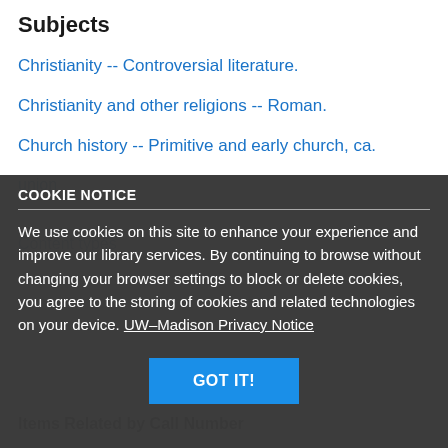Subjects
Christianity -- Controversial literature.
Christianity and other religions -- Roman.
Church history -- Primitive and early church, ca.
COOKIE NOTICE
We use cookies on this site to enhance your experience and improve our library services. By continuing to browse without changing your browser settings to block or delete cookies, you agree to the storing of cookies and related technologies on your device. UW–Madison Privacy Notice
GOT IT!